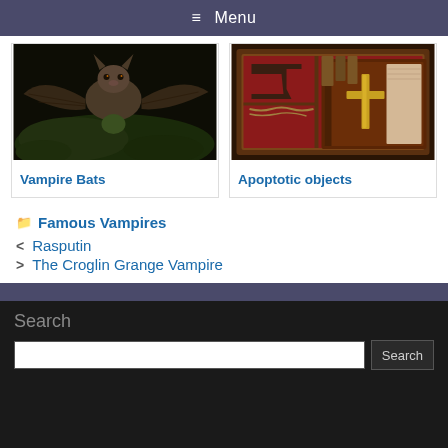≡ Menu
[Figure (photo): Close-up photo of a vampire bat on a dark mossy surface]
Vampire Bats
[Figure (photo): Wooden box containing apoptotic objects including a cross, book, and chains]
Apoptotic objects
Famous Vampires
< Rasputin
> The Croglin Grange Vampire
Search
Search